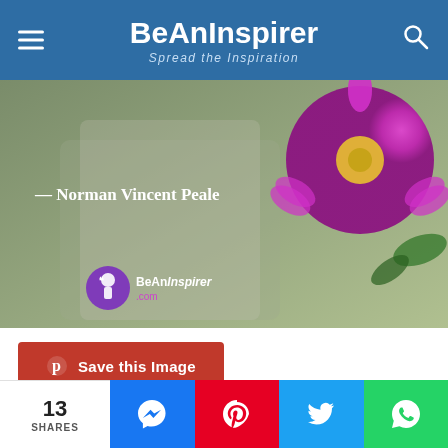BeAnInspirer — Spread the Inspiration
[Figure (photo): Inspirational quote image with pink zinnia flower on blurred background, text '— Norman Vincent Peale' and BeAnInspirer.com logo]
Save this Image
51.
13 SHARES